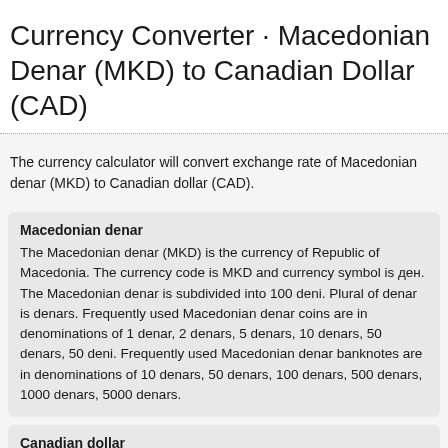Currency Converter · Macedonian Denar (MKD) to Canadian Dollar (CAD)
The currency calculator will convert exchange rate of Macedonian denar (MKD) to Canadian dollar (CAD).
Macedonian denar
The Macedonian denar (MKD) is the currency of Republic of Macedonia. The currency code is MKD and currency symbol is ден. The Macedonian denar is subdivided into 100 deni. Plural of denar is denars. Frequently used Macedonian denar coins are in denominations of 1 denar, 2 denars, 5 denars, 10 denars, 50 denars, 50 deni. Frequently used Macedonian denar banknotes are in denominations of 10 denars, 50 denars, 100 denars, 500 denars, 1000 denars, 5000 denars.
Canadian dollar
The Canadian dollar (CAD) is the currency of Canada. It is also widely